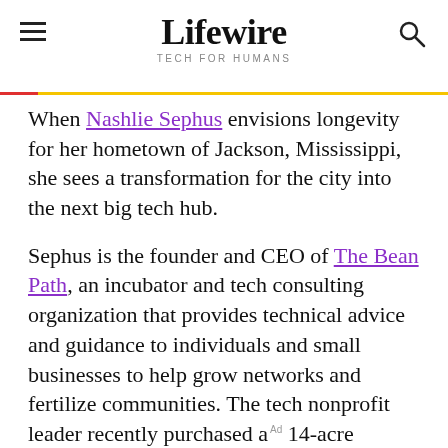Lifewire / TECH FOR HUMANS
When Nashlie Sephus envisions longevity for her hometown of Jackson, Mississippi, she sees a transformation for the city into the next big tech hub.
Sephus is the founder and CEO of The Bean Path, an incubator and tech consulting organization that provides technical advice and guidance to individuals and small businesses to help grow networks and fertilize communities. The tech nonprofit leader recently purchased a 14-acre property to build a workspace called the Jackson Tech District.